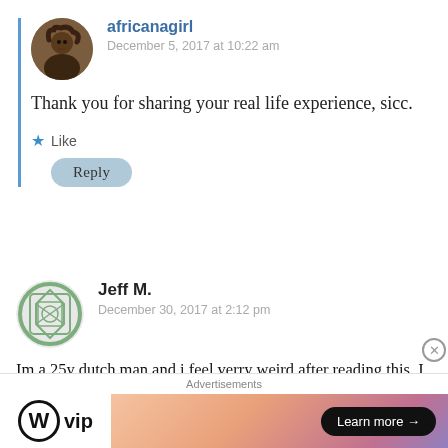africanagirl
December 5, 2017 at 10:22 am
Thank you for sharing your real life experience, sicc.
Like
Reply
Jeff M.
December 30, 2017 at 2:12 pm
Im a 25y dutch man and i feel verry weird after reading this. I think the man u met just wanna get in your pants.
Advertisements
[Figure (logo): WordPress VIP logo with circle W and 'vip' text]
[Figure (illustration): Colorful gradient advertisement banner with Learn more button]